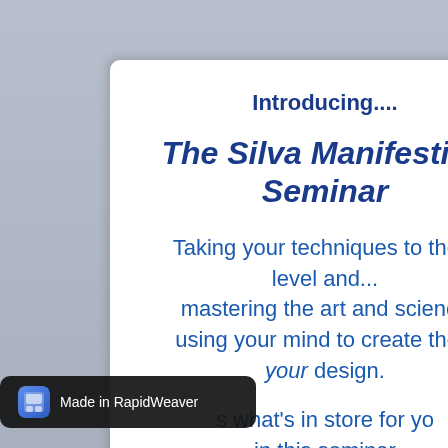Introducing....
The Silva Manifesting Seminar
Taking your techniques to the next level and... mastering the art and science of using your mind to create the life of your design.
Here's what's in store for you in this seminar